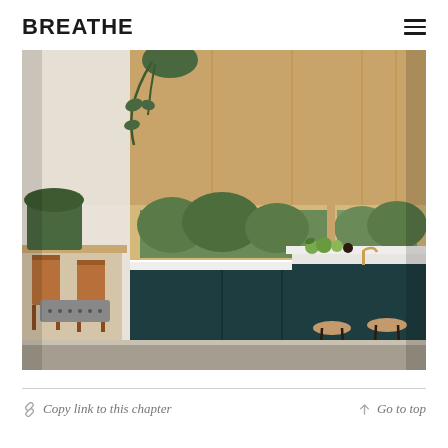BREATHE
[Figure (photo): Interior kitchen photo showing modern design with dark teal lower cabinets, natural wood upper cabinets, a horizontal window with garden view, white countertop island with bar stools, hanging plant, and dining chairs on the left.]
Copy link to this chapter   Go to top